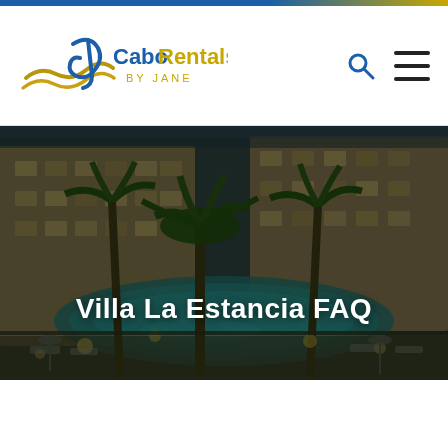CaboRentals BY JANE
[Figure (photo): Nighttime aerial view of Villa La Estancia resort showing illuminated swimming pool, palm trees, and multi-story building facade in Cabo San Lucas]
Villa La Estancia FAQ